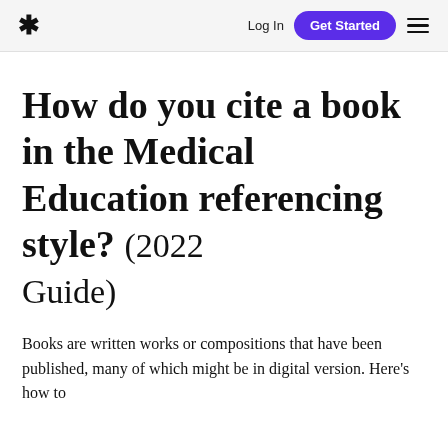* Log In  Get Started  ☰
How do you cite a book in the Medical Education referencing style? (2022 Guide)
Books are written works or compositions that have been published, many of which might be in digital version. Here's how to